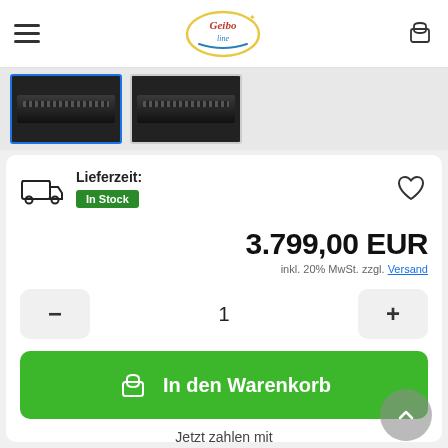Geibo line — navigation bar with hamburger menu, logo, and cart icon
[Figure (photo): Two product thumbnail images of a black audio amplifier/rack unit]
Lieferzeit: In Stock
3.799,00 EUR
inkl. 20% MwSt. zzgl. Versand
1
In den Warenkorb
Jetzt zahlen mit